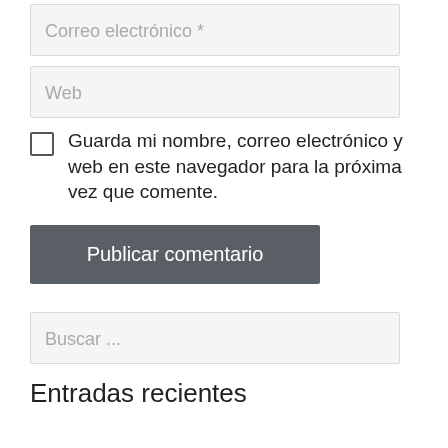Correo electrónico *
Web
Guarda mi nombre, correo electrónico y web en este navegador para la próxima vez que comente.
Publicar comentario
Buscar ...
Entradas recientes